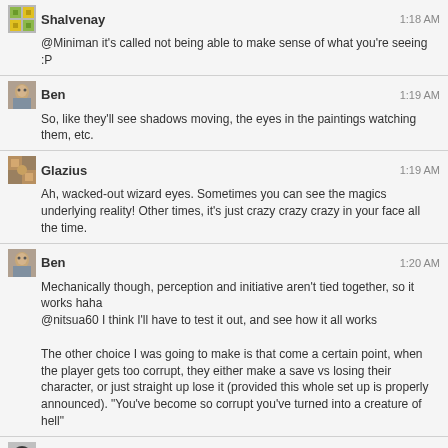Shalvenay 1:18 AM @Miniman it's called not being able to make sense of what you're seeing :P
Ben 1:19 AM So, like they'll see shadows moving, the eyes in the paintings watching them, etc.
Glazius 1:19 AM Ah, wacked-out wizard eyes. Sometimes you can see the magics underlying reality! Other times, it's just crazy crazy crazy in your face all the time.
Ben 1:20 AM Mechanically though, perception and initiative aren't tied together, so it works haha @nitsua60 I think I'll have to test it out, and see how it all works The other choice I was going to make is that come a certain point, when the player gets too corrupt, they either make a save vs losing their character, or just straight up lose it (provided this whole set up is properly announced). "You've become so corrupt you've turned into a creature of hell"
nitsua60 1:23 AM @Ben uhh... save or suck much? I'd handle that the way I do death saves: I tell the player they're on their own to privately, without any of us knowing how, determine their character's life or death. (They can roll saves, they can just decide by player fiat they're alive or dead. They just can't tell anyone what they did or how they did it.)
Miniman 1:25 AM Also, +hp/-persuasion isn't really a tradeoff - for everyone except the face, it's crazy desirable and free, and for the face, it just sucks.